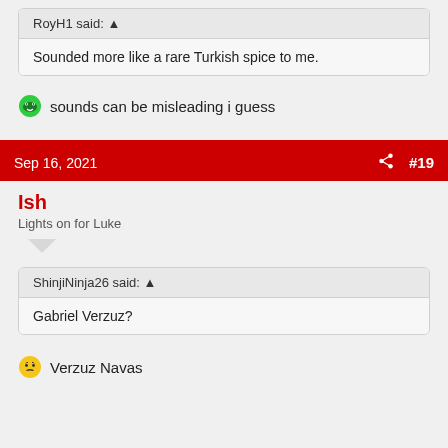RoyH1 said: ↑
Sounded more like a rare Turkish spice to me.
🎾 sounds can be misleading i guess
Sep 16, 2021  #19
Ish
Lights on for Luke
ShinjiNinja26 said: ↑
Gabriel Verzuz?
😏 Verzuz Navas